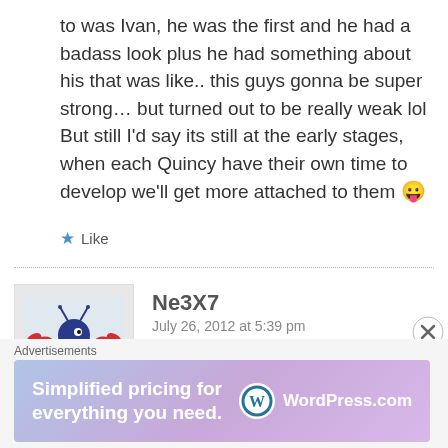to was Ivan, he was the first and he had a badass look plus he had something about his that was like.. this guys gonna be super strong… but turned out to be really weak lol But still I'd say its still at the early stages, when each Quincy have their own time to develop we'll get more attached to them 😛
Like
Ne3X7
July 26, 2012 at 5:39 pm
I really liked the Leader, he's a bit of
Advertisements
Simplified pricing for everything you need. WordPress.com